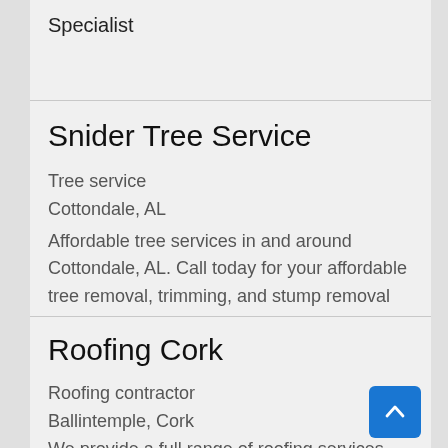Specialist
Snider Tree Service
Tree service
Cottondale, AL
Affordable tree services in and around Cottondale, AL. Call today for your affordable tree removal, trimming, and stump removal
Roofing Cork
Roofing contractor
Ballintemple, Cork
We provide a full range of roofing services